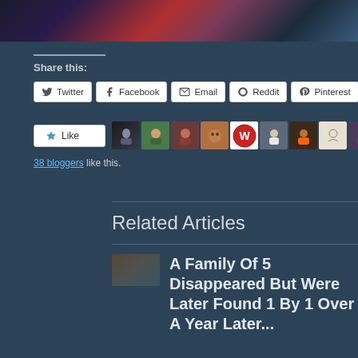[Figure (photo): Partial photo of a person holding a microphone on stage with blue lighting background]
Share this:
Twitter | Facebook | Email | Reddit | Pinterest
38 bloggers like this.
Related Articles
A Family Of 5 Disappeared But Were Later Found 1 By 1 Over A Year Later...